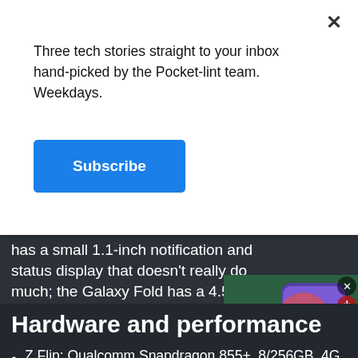Three tech stories straight to your inbox hand-picked by the Pocket-lint team. Weekdays.
Subscribe
has a small 1.1-inch notification and status display that doesn't really do much; the Galaxy Fold has a 4.5-inch display on the outside that's fully functional, giving you full access to the features. It could be larger, but better than the Z Flip's tiny display.
[Figure (screenshot): Samsung S22+ promotional video thumbnail showing a hand holding a Samsung Galaxy phone with S22+ text overlay and a play button]
Hardware and performance
Z Flip: Qualcomm Snapdragon 855+, 8/256GB, 4G, 3300mAh
Fold: Qualcomm Snapdragon 855, 12/512GB, 5G,